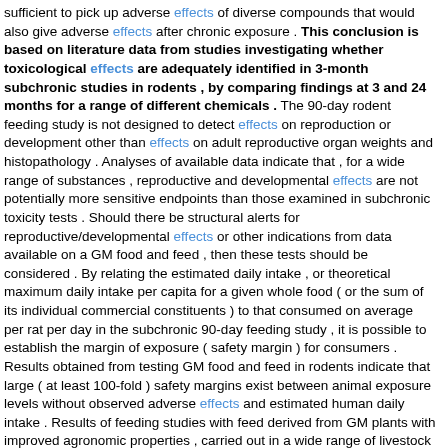sufficient to pick up adverse effects of diverse compounds that would also give adverse effects after chronic exposure . This conclusion is based on literature data from studies investigating whether toxicological effects are adequately identified in 3-month subchronic studies in rodents , by comparing findings at 3 and 24 months for a range of different chemicals . The 90-day rodent feeding study is not designed to detect effects on reproduction or development other than effects on adult reproductive organ weights and histopathology . Analyses of available data indicate that , for a wide range of substances , reproductive and developmental effects are not potentially more sensitive endpoints than those examined in subchronic toxicity tests . Should there be structural alerts for reproductive/developmental effects or other indications from data available on a GM food and feed , then these tests should be considered . By relating the estimated daily intake , or theoretical maximum daily intake per capita for a given whole food ( or the sum of its individual commercial constituents ) to that consumed on average per rat per day in the subchronic 90-day feeding study , it is possible to establish the margin of exposure ( safety margin ) for consumers . Results obtained from testing GM food and feed in rodents indicate that large ( at least 100-fold ) safety margins exist between animal exposure levels without observed adverse effects and estimated human daily intake . Results of feeding studies with feed derived from GM plants with improved agronomic properties , carried out in a wide range of livestock species , are discussed . The studies did not show any biologically relevant differences in the parameters tested between control and test animals . ( ABSTRACT TRUNCATED ) [ Sen. 38, subscore: 1.00 ]: The design of the study should be adapted from the OECD 90-day rodent toxicity study . The precise study design has to take into account the nature of the food and feed and the